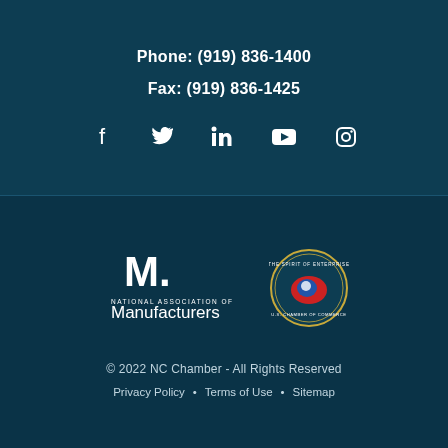Phone: (919) 836-1400
Fax: (919) 836-1425
[Figure (infographic): Social media icons: Facebook, Twitter, LinkedIn, YouTube, Instagram]
[Figure (logo): National Association of Manufacturers logo (white M. mark with text)]
[Figure (logo): U.S. Chamber of Commerce Spirit of Enterprise circular seal logo]
© 2022 NC Chamber - All Rights Reserved
Privacy Policy • Terms of Use • Sitemap